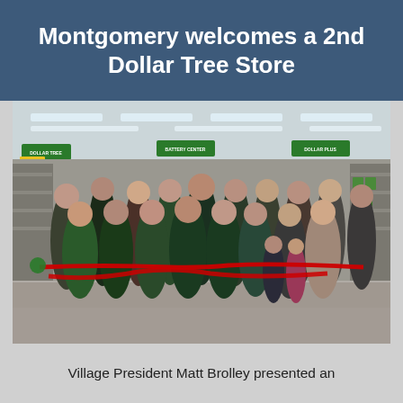Montgomery welcomes a 2nd Dollar Tree Store
[Figure (photo): Ribbon cutting ceremony inside a Dollar Tree store. A group of approximately 20 people, including staff in green Dollar Tree uniforms and officials in business attire, stand together holding a red ribbon. Children are visible in the front row. The store interior shows aisles with green signage and fluorescent lighting overhead.]
Village President Matt Brolley presented an